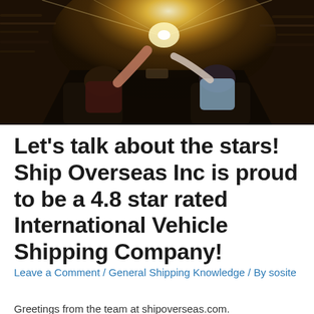[Figure (photo): Two people riding in a convertible car from behind, with bright sunlight bursting through the windshield on a highway. Motion blur on the sides suggests high speed. Driver and passenger have arms raised.]
Let's talk about the stars! Ship Overseas Inc is proud to be a 4.8 star rated International Vehicle Shipping Company!
Leave a Comment / General Shipping Knowledge / By sosite
Greetings from the team at shipoverseas.com.